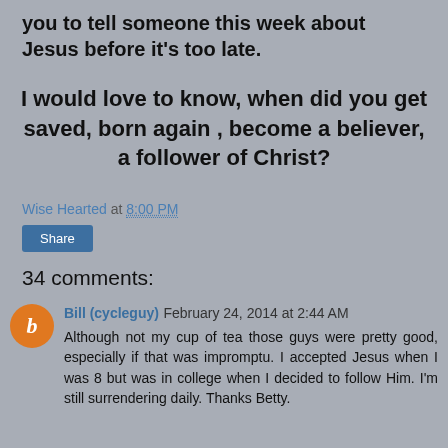you to tell someone this week about Jesus before it's too late.
I would love to know, when did you get saved, born again , become a believer, a follower of Christ?
Wise Hearted at 8:00 PM
Share
34 comments:
Bill (cycleguy) February 24, 2014 at 2:44 AM
Although not my cup of tea those guys were pretty good, especially if that was impromptu. I accepted Jesus when I was 8 but was in college when I decided to follow Him. I'm still surrendering daily. Thanks Betty.